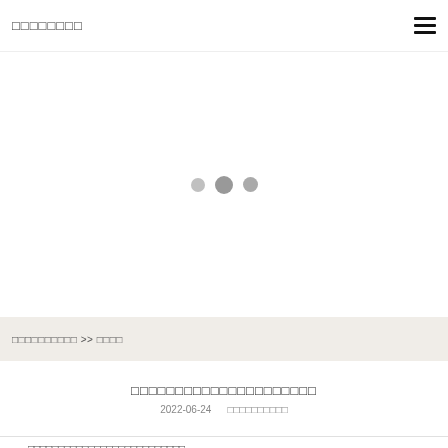□□□□□□□□
[Figure (other): Loading spinner with three dots (small grey, medium dark grey, medium grey) centered in a white area]
□□□□□□□□□□ >> □□□□
□□□□□□□□□□□□□□□□□□□□□
2022-06-24   □□□□□□□□□□
□□□□□□□□□□□□□□□□□□□□□□□□□□
□□□□□□□□□Shuitou Stone Fair Upgraded to a New Era□□□□□□□□□□□□□□□□□□□□□□□